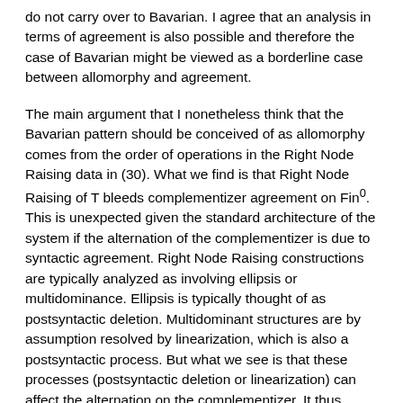do not carry over to Bavarian. I agree that an analysis in terms of agreement is also possible and therefore the case of Bavarian might be viewed as a borderline case between allomorphy and agreement.
The main argument that I nonetheless think that the Bavarian pattern should be conceived of as allomorphy comes from the order of operations in the Right Node Raising data in (30). What we find is that Right Node Raising of T bleeds complementizer agreement on Fin⁰. This is unexpected given the standard architecture of the system if the alternation of the complementizer is due to syntactic agreement. Right Node Raising constructions are typically analyzed as involving ellipsis or multidominance. Ellipsis is typically thought of as postsyntactic deletion. Multidominant structures are by assumption resolved by linearization, which is also a postsyntactic process. But what we see is that these processes (postsyntactic deletion or linearization) can affect the alternation on the complementizer. It thus follows that whatever causes the alternation also happens postsyntactically. In this respect, again